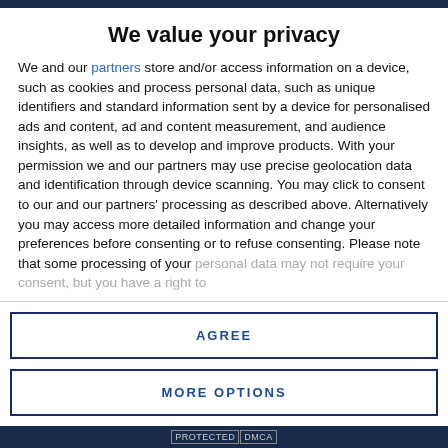We value your privacy
We and our partners store and/or access information on a device, such as cookies and process personal data, such as unique identifiers and standard information sent by a device for personalised ads and content, ad and content measurement, and audience insights, as well as to develop and improve products. With your permission we and our partners may use precise geolocation data and identification through device scanning. You may click to consent to our and our partners' processing as described above. Alternatively you may access more detailed information and change your preferences before consenting or to refuse consenting. Please note that some processing of your personal data may not require your consent, but you have a right to
AGREE
MORE OPTIONS
PROTECTED DMCA